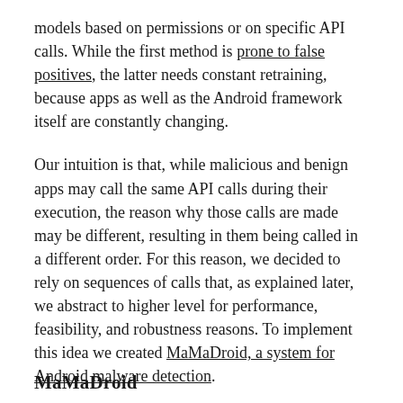models based on permissions or on specific API calls. While the first method is prone to false positives, the latter needs constant retraining, because apps as well as the Android framework itself are constantly changing.
Our intuition is that, while malicious and benign apps may call the same API calls during their execution, the reason why those calls are made may be different, resulting in them being called in a different order. For this reason, we decided to rely on sequences of calls that, as explained later, we abstract to higher level for performance, feasibility, and robustness reasons. To implement this idea we created MaMaDroid, a system for Android malware detection.
MaMaDroid